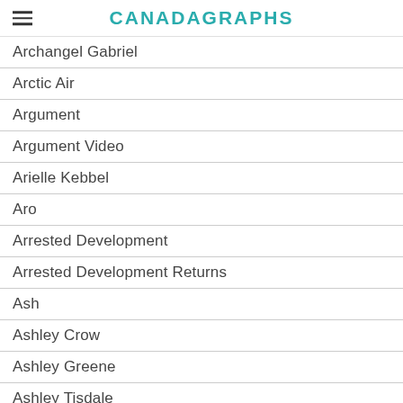CANADAGRAPHS
Archangel Gabriel
Arctic Air
Argument
Argument Video
Arielle Kebbel
Aro
Arrested Development
Arrested Development Returns
Ash
Ashley Crow
Ashley Greene
Ashley Tisdale
Asia Argento
Astrid Farnsworth
Ateam